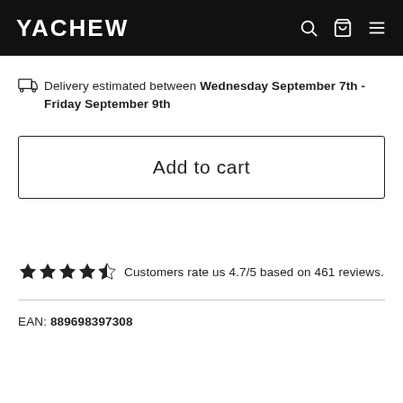YACHEW
Delivery estimated between Wednesday September 7th - Friday September 9th
Add to cart
Customers rate us 4.7/5 based on 461 reviews.
EAN: 889698397308